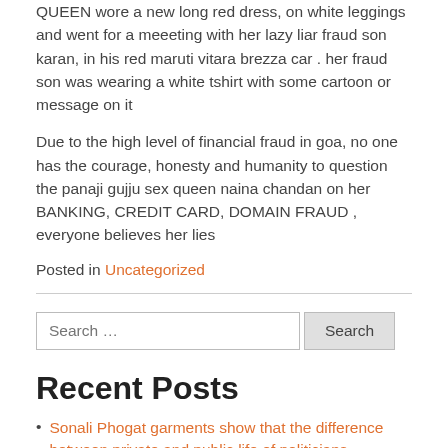QUEEN wore a new long red dress, on white leggings and went for a meeeting with her lazy liar fraud son karan, in his red maruti vitara brezza car . her fraud son was wearing a white tshirt with some cartoon or message on it
Due to the high level of financial fraud in goa, no one has the courage, honesty and humanity to question the panaji gujju sex queen naina chandan on her BANKING, CREDIT CARD, DOMAIN FRAUD , everyone believes her lies
Posted in Uncategorized
Recent Posts
Sonali Phogat garments show that the difference between private and public life of politicians
Young women ordering new clothes online for